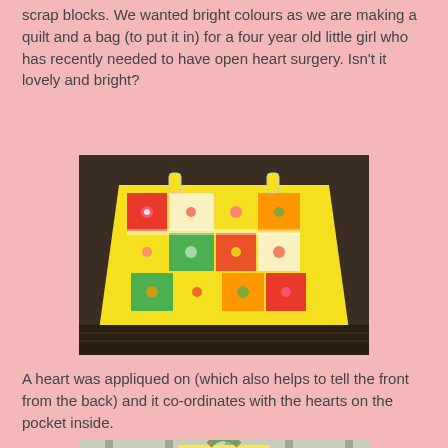scrap blocks. We wanted bright colours as we are making a quilt and a bag (to put it in) for a four year old little girl who has recently needed to have open heart surgery. Isn't it lovely and bright?
[Figure (photo): A colorful patchwork quilted bag with bright yellow, pink, red, green and multicolor floral fabric patches, sitting on a dark wooden surface with plants in the background.]
A heart was appliqued on (which also helps to tell the front from the back) and it co-ordinates with the hearts on the pocket inside.
[Figure (photo): A colorful patchwork bag with a green and multicolor striped handle, photographed outdoors with a fence in the background.]